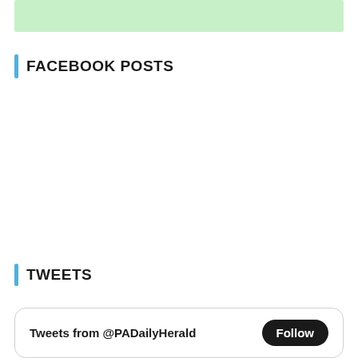[Figure (other): Light green banner bar at the top of the page]
FACEBOOK POSTS
TWEETS
Tweets from @PADailyHerald  Follow